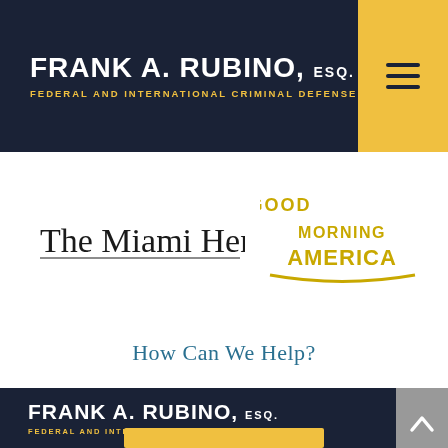FRANK A. RUBINO, ESQ. FEDERAL AND INTERNATIONAL CRIMINAL DEFENSE
[Figure (logo): The Miami Herald newspaper logo in blackletter/gothic typeface]
[Figure (logo): Good Morning America logo in gold/yellow stylized text]
How Can We Help?
FRANK A. RUBINO, ESQ. FEDERAL AND INTERNATIONAL CRIMINAL DEFENSE